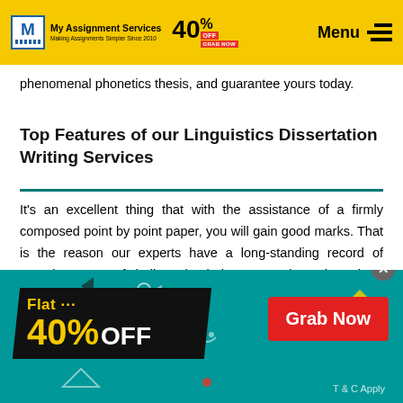My Assignment Services — 40% OFF — GRAB NOW — Menu
phenomenal phonetics thesis, and guarantee yours today.
Top Features of our Linguistics Dissertation Writing Services
It's an excellent thing that with the assistance of a firmly composed point by point paper, you will gain good marks. That is the reason our experts have a long-standing record of superb support of dedicated scholars everywhere throughout the globe. As you
[Figure (infographic): Promotional ad banner with teal background showing 'Flat 40% OFF' in dark box with yellow/white text and a red 'Grab Now' button on the right. Decorative geometric shapes and dots. T & C Apply text at bottom right.]